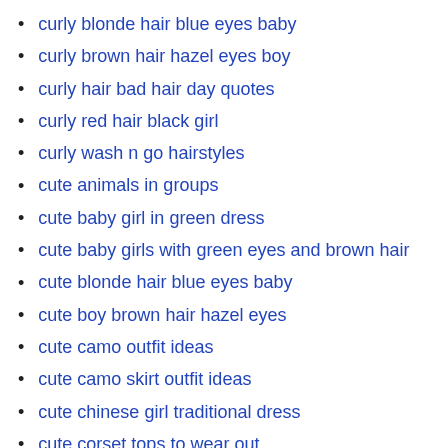curly blonde hair blue eyes baby
curly brown hair hazel eyes boy
curly hair bad hair day quotes
curly red hair black girl
curly wash n go hairstyles
cute animals in groups
cute baby girl in green dress
cute baby girls with green eyes and brown hair
cute blonde hair blue eyes baby
cute boy brown hair hazel eyes
cute camo outfit ideas
cute camo skirt outfit ideas
cute chinese girl traditional dress
cute corset tops to wear out
cute couple picture ideas poses